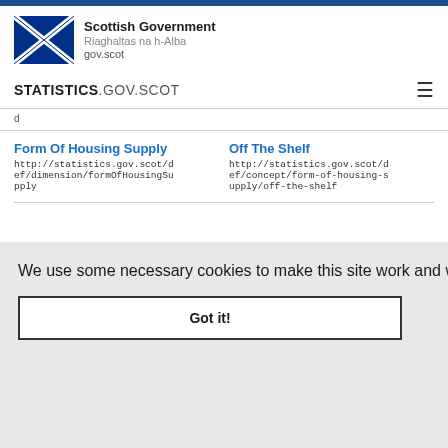[Figure (logo): Scottish Government logo with Saltire flag and text: Scottish Government, Riaghaltas na h-Alba, gov.scot]
STATISTICS.GOV.SCOT
d
Form Of Housing Supply
http://statistics.gov.scot/def/dimension/formOfHousingSupply
Off The Shelf
http://statistics.gov.scot/def/concept/form-of-housing-supply/off-the-shelf
We use some necessary cookies to make this site work and we also set some analytics cookies. More details
Got it!
Programme Category